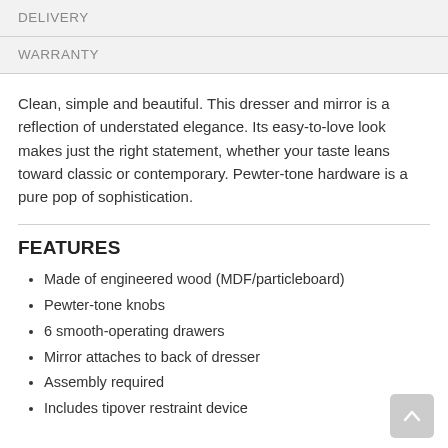DELIVERY
WARRANTY
Clean, simple and beautiful. This dresser and mirror is a reflection of understated elegance. Its easy-to-love look makes just the right statement, whether your taste leans toward classic or contemporary. Pewter-tone hardware is a pure pop of sophistication.
FEATURES
Made of engineered wood (MDF/particleboard)
Pewter-tone knobs
6 smooth-operating drawers
Mirror attaches to back of dresser
Assembly required
Includes tipover restraint device